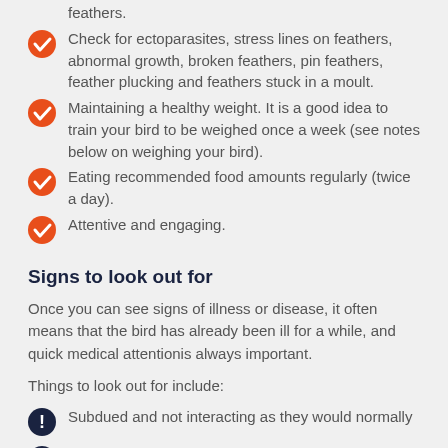feathers.
Check for ectoparasites, stress lines on feathers, abnormal growth, broken feathers, pin feathers, feather plucking and feathers stuck in a moult.
Maintaining a healthy weight. It is a good idea to train your bird to be weighed once a week (see notes below on weighing your bird).
Eating recommended food amounts regularly (twice a day).
Attentive and engaging.
Signs to look out for
Once you can see signs of illness or disease, it often means that the bird has already been ill for a while, and quick medical attentionis always important.
Things to look out for include:
Subdued and not interacting as they would normally